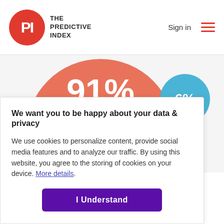THE PREDICTIVE INDEX | Sign in
[Figure (infographic): Large salmon/coral circle with '91%' in white text, and a smaller blue circle with '6%' in white text, representing Yes/No survey responses]
Yes
No
We want you to be happy about your data & privacy
We use cookies to personalize content, provide social media features and to analyze our traffic. By using this website, you agree to the storing of cookies on your device. More details.
I Understand